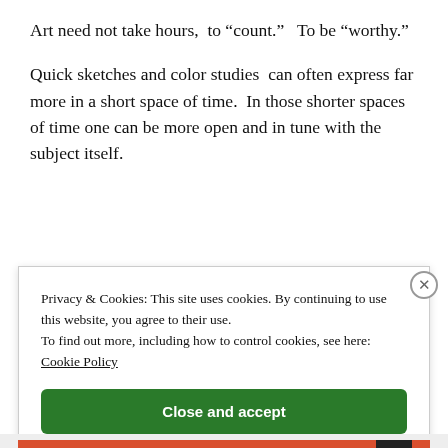Art need not take hours,  to “count.”   To be “worthy.”
Quick sketches and color studies  can often express far more in a short space of time.  In those shorter spaces of time one can be more open and in tune with the subject itself.
Privacy & Cookies: This site uses cookies. By continuing to use this website, you agree to their use.
To find out more, including how to control cookies, see here: Cookie Policy
Close and accept